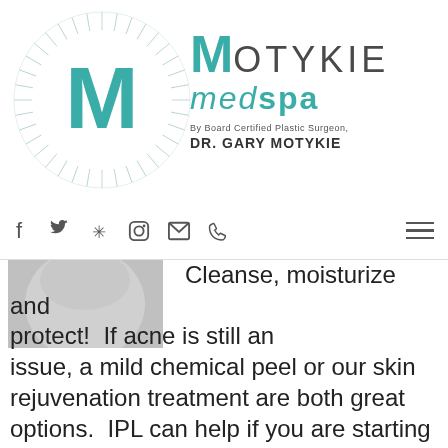[Figure (logo): Motykie MedSpa logo with circular radial design and teal M letter, text reading MOTYKIE medspa by Board Certified Plastic Surgeon DR. GARY MOTYKIE]
[Figure (other): Navigation bar with social media icons: Facebook, Twitter, Yelp, Instagram, Email, Phone, and hamburger menu]
[Figure (photo): Cropped grayscale photo of a person's face/neck area]
Cleanse, moisturize and protect!  If acne is still an issue, a mild chemical peel or our skin rejuvenation treatment are both great options.  IPL can help if you are starting to see minimal signs of sun damage!